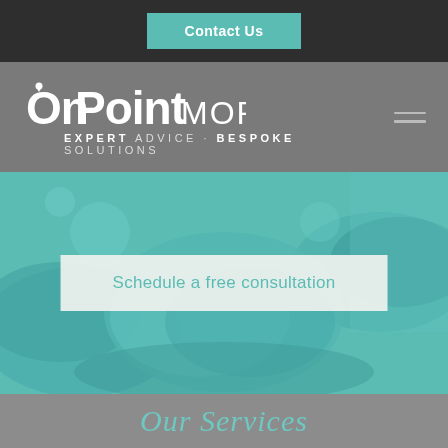Contact Us
[Figure (logo): OnPoint Mortgages logo with tagline: EXPERT ADVICE - BESPOKE SOLUTIONS]
[Figure (photo): Two people shaking hands with a teal/green color overlay, representing a business consultation]
Schedule a free consultation
Our Services